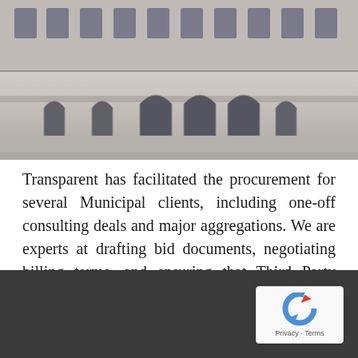[Figure (photo): Black and white photo of an ornate neoclassical government or municipal building facade, showing columns, arched windows, and detailed architectural stonework.]
Transparent has facilitated the procurement for several Municipal clients, including one-off consulting deals and major aggregations. We are experts at drafting bid documents, negotiating billing terms, and ensuring that Third Party Contract terms match Municipal laws and requirements.
[Figure (other): reCAPTCHA badge with Privacy and Terms links]